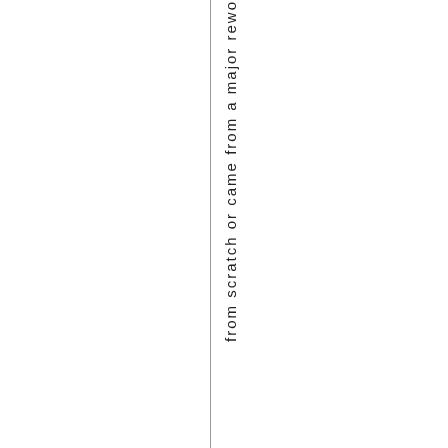from scratch or came from a major rewo